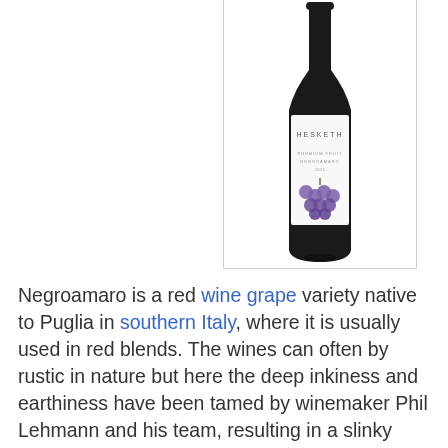[Figure (photo): A wine bottle with a white label featuring 'Hesketh' branding and purple grape cluster illustration at the bottom of the label. The bottle is dark/black glass and displayed against a white background with a light gray border.]
Negroamaro is a red wine grape variety native to Puglia in southern Italy, where it is usually used in red blends. The wines can often by rustic in nature but here the deep inkiness and earthiness have been tamed by winemaker Phil Lehmann and his team, resulting in a slinky smooth and disarmingly easy-to-drink wine. The fruit is grown by the Kalleske family and the wine has been aged in older French hogsheads, which add texture without any overt oak flavours. The end result is a fruit-driven, medium-bodied red offering immediate enjoyment without being particularly challenging. Great with dark, rich, meaty without food.